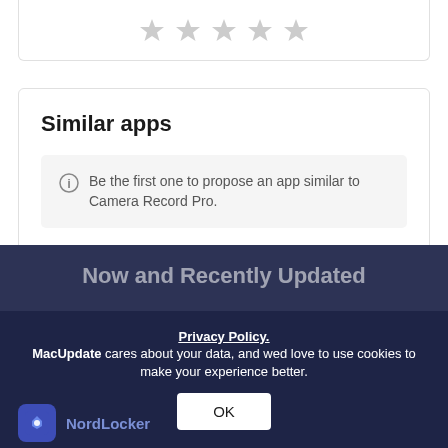[Figure (other): Five empty grey star rating icons in a row]
Similar apps
Be the first one to propose an app similar to Camera Record Pro.
Suggest similar app
Now and Recently Updated
Privacy Policy.
MacUpdate cares about your data, and wed love to use cookies to make your experience better.
OK
NordLocker